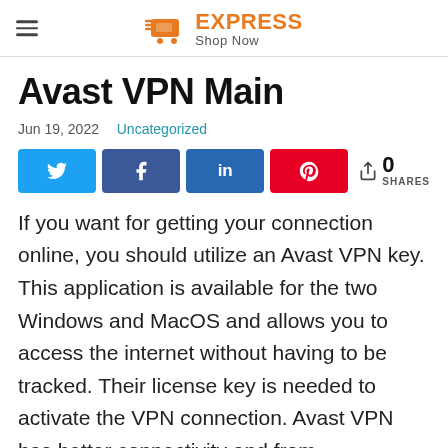EXPRESS Shop Now
Avast VPN Main
Jun 19, 2022  Uncategorized
[Figure (infographic): Social share buttons: Twitter, Facebook, LinkedIn, Pinterest, and share count showing 0 SHARES]
If you want for getting your connection online, you should utilize an Avast VPN key. This application is available for the two Windows and MacOS and allows you to access the internet without having to be tracked. Their license key is needed to activate the VPN connection. Avast VPN has better connectivity and from...